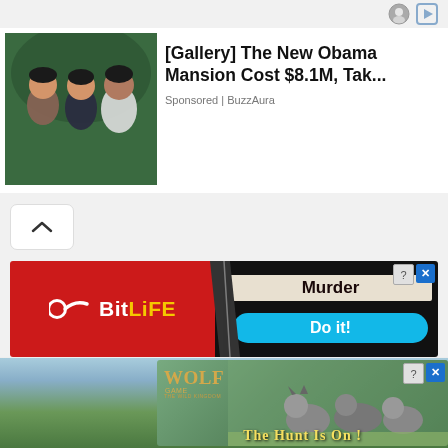[Figure (screenshot): Top icon bar with avatar circle icon and play button icon]
[Figure (photo): Ad: [Gallery] The New Obama Mansion Cost $8.1M, Tak... Sponsored | BuzzAura. Photo of people smiling outdoors.]
[Figure (screenshot): Navigation up-chevron button]
[Figure (screenshot): BitLife game ad: Murder - Do it! with red background and blue button]
[Figure (logo): TOPNEWS TV ONLINE MAGAZINE logo with bird illustration]
[Figure (screenshot): Wolf Game: The Wild Kingdom ad - The Hunt Is On! with wolves in meadow]